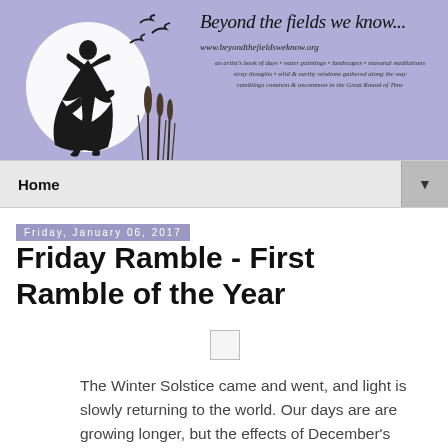[Figure (illustration): Blog header banner with purple/lavender background. Left side shows a silhouette of a dancing girl in a circle (moon), with birds flying and reeds/cattails. Right side has handwritten-style text 'Beyond the fields we know...' with website URL and tagline.]
Home ▼
Friday, January 06, 2017
Friday Ramble - First Ramble of the Year
[Figure (illustration): Small image placeholder (checkbox/empty image icon)]
The Winter Solstice came and went, and light is slowly returning to the world. Our days are are growing longer, but the effects of December's turning are felt in their own good time, and it will be a while before we sense real change in the